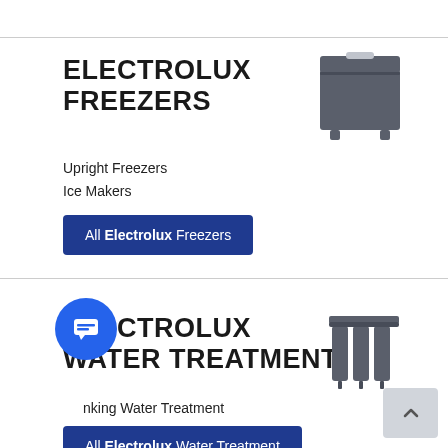ELECTROLUX FREEZERS
[Figure (illustration): Gray icon of a chest freezer/cooler appliance]
Upright Freezers
Ice Makers
All Electrolux Freezers
ELECTROLUX WATER TREATMENT
[Figure (illustration): Gray icon of water filtration/treatment system with multiple filter columns]
Drinking Water Treatment
All Electrolux Water Treatment